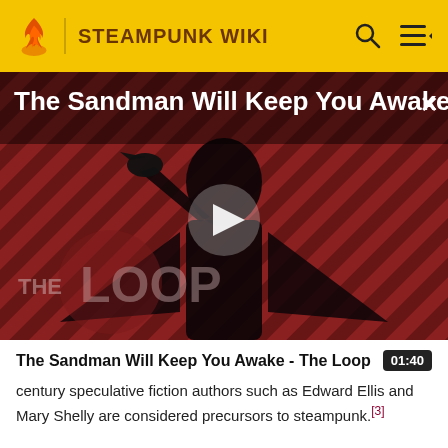STEAMPUNK WIKI
[Figure (screenshot): Video thumbnail showing a dark-cloaked figure against a red and black diagonal striped background, with 'THE LOOP' text overlay, a white play button triangle in the center, and the title 'The Sandman Will Keep You Awake...' in white text at the top. An X close button is in the top right corner.]
The Sandman Will Keep You Awake - The Loop
century speculative fiction authors such as Edward Ellis and Mary Shelly are considered precursors to steampunk.[3]